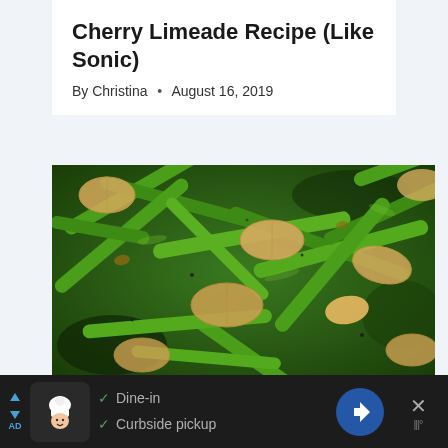Cherry Limeade Recipe (Like Sonic)
By Christina • August 16, 2019
[Figure (photo): Close-up photo of sautéed green beans with sliced almonds scattered on top, on a dark background]
[Figure (screenshot): Advertisement bar showing a restaurant icon, checkmarks for Dine-in and Curbside pickup, a blue navigation icon, and a close button]